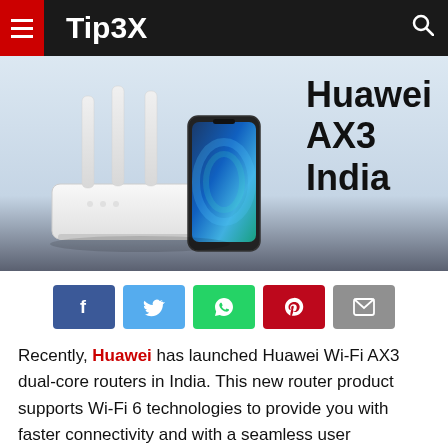Tip3X
[Figure (photo): Huawei AX3 India promotional image showing a white Wi-Fi router with antennas and a smartphone, with bold text 'Huawei AX3 India' on the right]
Recently, Huawei has launched Huawei Wi-Fi AX3 dual-core routers in India. This new router product supports Wi-Fi 6 technologies to provide you with faster connectivity and with a seamless user experience.
PRICE AND AVAILABILITY: